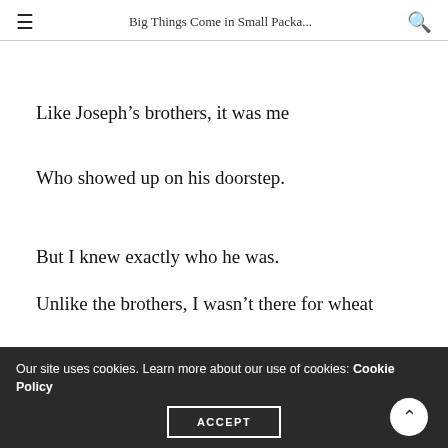Big Things Come in Small Packa...
Like Joseph’s brothers, it was me
Who showed up on his doorstep.
But I knew exactly who he was.
Unlike the brothers, I wasn’t there for wheat
Our site uses cookies. Learn more about our use of cookies: Cookie Policy